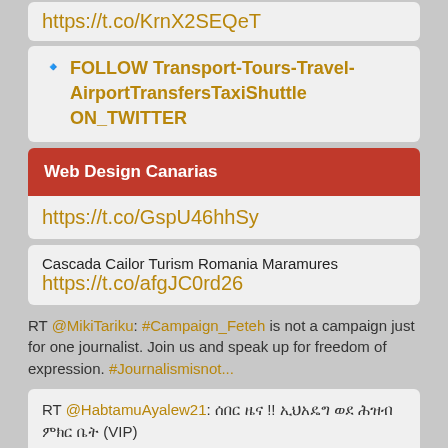https://t.co/KrnX2SEQeT
🔹 FOLLOW Transport-Tours-Travel-AirportTransfersTaxiShuttle ON_TWITTER
Web Design Canarias
https://t.co/GspU46hhSy
Cascada Cailor Turism Romania Maramures https://t.co/afgJC0rd26
RT @MikiTariku: #Campaign_Feteh is not a campaign just for one journalist. Join us and speak up for freedom of expression. #Journalismisnot...
RT @HabtamuAyalew21: ... (VIP) ... https://t.co/EbIJMnG…